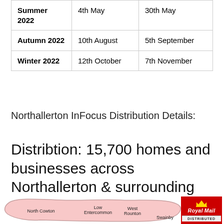|  | Start Date | End Date |
| --- | --- | --- |
| Summer 2022 | 4th May | 30th May |
| Autumn 2022 | 10th August | 5th September |
| Winter 2022 | 12th October | 7th November |
Northallerton InFocus Distribution Details:
Distribtion: 15,700 homes and businesses across Northallerton & surrounding areas
[Figure (map): Map of Northallerton and surrounding areas including North Cowton, Low Entercommon, West Rounton, Swainby. A Royal Mail Distributed logo is shown in the bottom right.]